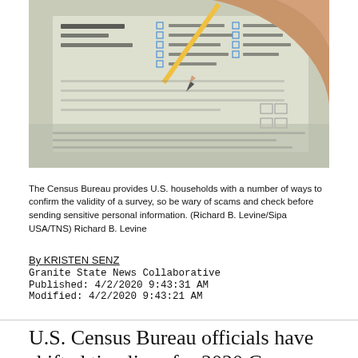[Figure (photo): Close-up of a hand holding a pencil filling out a Census form with checkboxes and printed fields visible]
The Census Bureau provides U.S. households with a number of ways to confirm the validity of a survey, so be wary of scams and check before sending sensitive personal information. (Richard B. Levine/Sipa USA/TNS) Richard B. Levine
By KRISTEN SENZ
Granite State News Collaborative
Published: 4/2/2020 9:43:31 AM
Modified: 4/2/2020 9:43:21 AM
U.S. Census Bureau officials have shifted timelines for 2020 Census operations and anticipate hiring more census-takers in New Hampshire and nationwide in preparation for